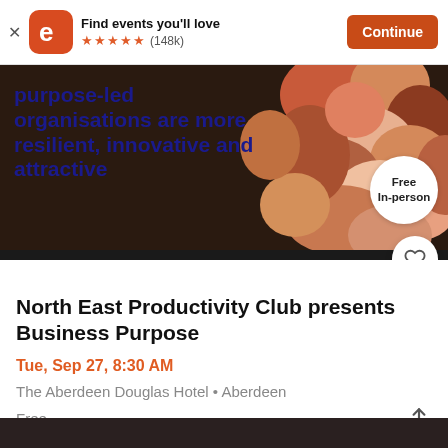Find events you'll love ★★★★★ (148k) Continue
[Figure (screenshot): Event promotional image showing colorful crumpled paper faces/figures, with overlay text about purpose-led organisations, a 'Free In-person' badge, and a heart/save button]
North East Productivity Club presents Business Purpose
Tue, Sep 27, 8:30 AM
The Aberdeen Douglas Hotel • Aberdeen
Free